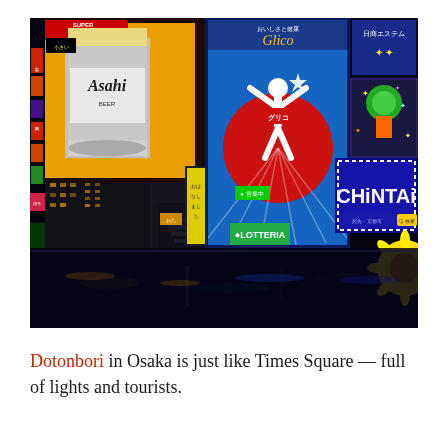[Figure (photo): Night photo of Dotonbori in Osaka, Japan, showing the famous illuminated billboards along the canal including Asahi Super Dry beer advertisement, Glico running man sign, Chintai sign, and various Japanese neon signs reflected in the water below.]
Dotonbori in Osaka is just like Times Square — full of lights and tourists.